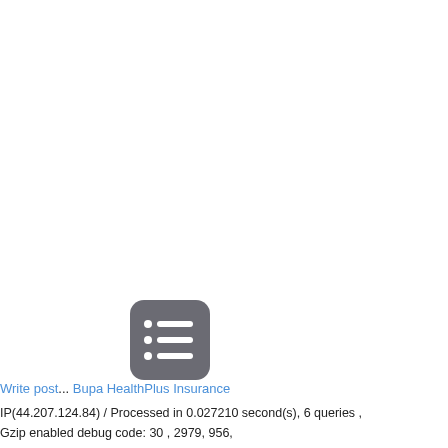[Figure (illustration): Dark gray rounded rectangle icon with a list/menu symbol (three horizontal lines with bullet dots on the left), positioned near bottom-left area of the page.]
Write pos... Bupa HealthPlus Insurance
IP(44.207.124.84) / Processed in 0.027210 second(s), 6 queries ,
Gzip enabled debug code: 30 , 2979, 956,